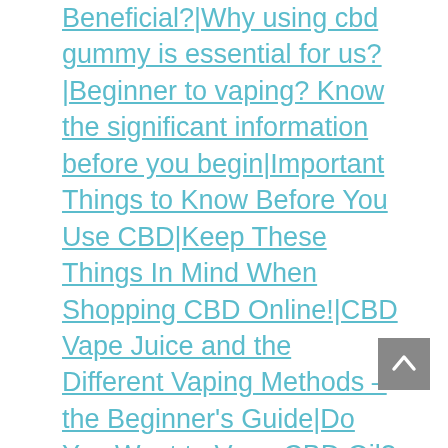Beneficial?|Why using cbd gummy is essential for us?|Beginner to vaping? Know the significant information before you begin|Important Things to Know Before You Use CBD|Keep These Things In Mind When Shopping CBD Online!|CBD Vape Juice and the Different Vaping Methods – the Beginner's Guide|Do You Want to Vape CBD Oil? A Few Things You Must Know Before Vaping|Explore The Importance of CBD's Role By Using In Different Ways For Pre & Post WorkOuts|CBD Pain Cream FAQs|How Can CBD Help in Treating Your Cold Sores?|Do You Know that Turmeric and CBD Oil Combination is Good for You?|Unexpected Ways to Ease Endometriosis Pain|A Guide on How To Access The CBD Tincture For The New...